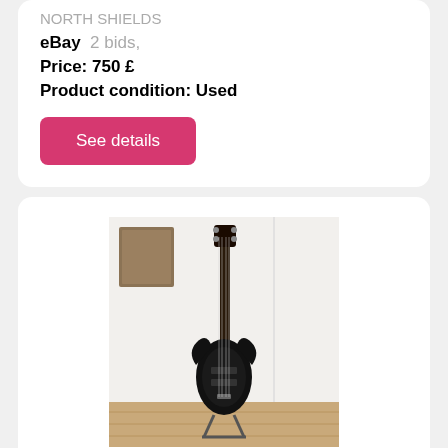NORTH SHIELDS
eBay  2 bids,
Price: 750 £
Product condition: Used
See details
[Figure (photo): Photo of a black electric bass guitar standing upright on a stand against a white wall with wooden floor]
used electric bass guitar four string active elect
Fender bass vi for your collection. Hello